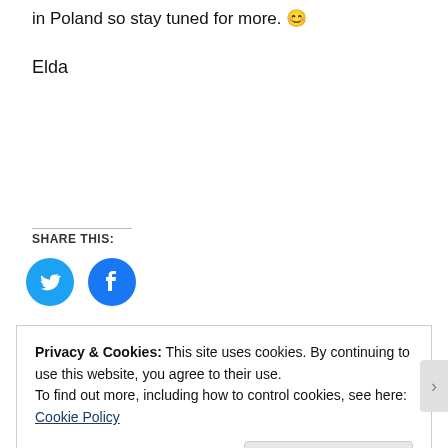in Poland so stay tuned for more. 😊
Elda
SHARE THIS:
[Figure (illustration): Twitter and Facebook circular social share icons in blue]
Privacy & Cookies: This site uses cookies. By continuing to use this website, you agree to their use. To find out more, including how to control cookies, see here: Cookie Policy
Close and accept